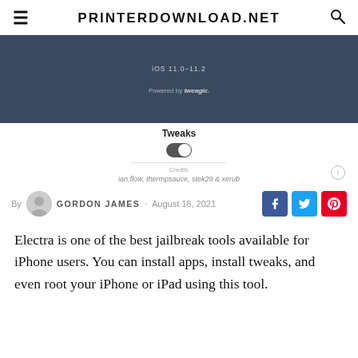PRINTERDOWNLOAD.NET
[Figure (screenshot): Screenshot of a dark blue/slate UI panel showing iOS version text 'iOS 11.0–11.2', 'Powered by tweagic.' text, a Tweaks toggle switch turned on, a horizontal divider, and credits text 'ian.flow, thermpsauce, stek29 & xerub']
By GORDON JAMES · August 18, 2021
Electra is one of the best jailbreak tools available for iPhone users. You can install apps, install tweaks, and even root your iPhone or iPad using this tool.